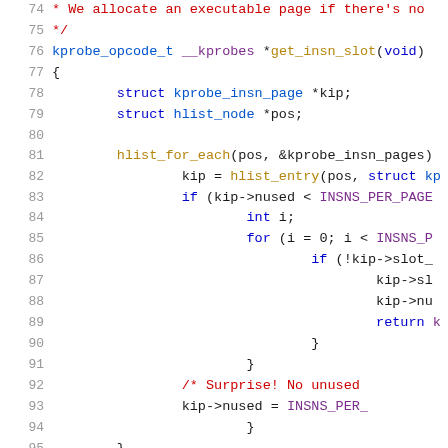[Figure (screenshot): Source code listing showing C kernel code for get_insn_slot function, lines 74-95, with syntax highlighting (line numbers in gray, keywords in blue, comments in red, function names in gold/purple, variables in dark).]